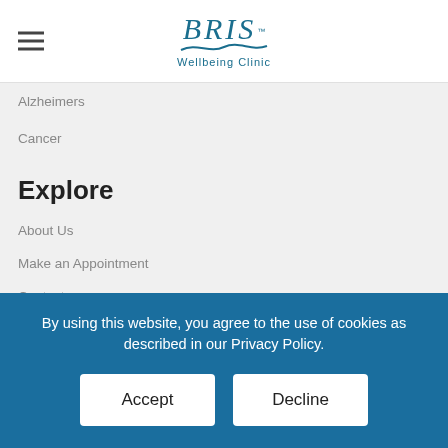[Figure (logo): BRIS Wellbeing Clinic logo with wave graphic and tagline]
Alzheimers
Cancer
Explore
About Us
Make an Appointment
Contact
© 2020. Bris Wellbeing Clinic. Website: Greenlizzard Studios
By using this website, you agree to the use of cookies as described in our Privacy Policy.